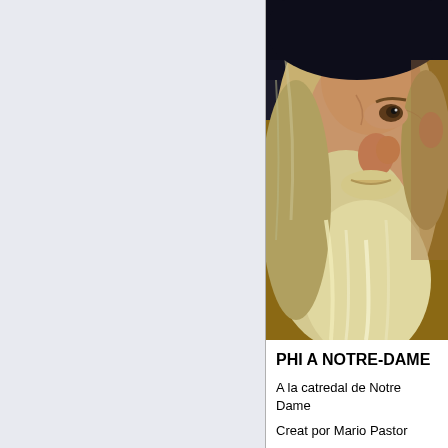[Figure (photo): Close-up portrait painting of an elderly man with long white/grey beard and hair, appearing to be a Renaissance-style painting, cropped tightly to the face.]
PHI A NOTRE-DAME
A la catredal de Notre Dame
Creat por Mario Pastor